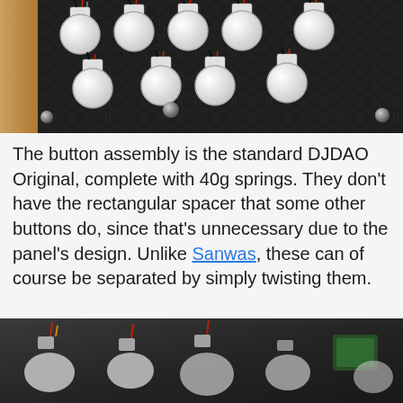[Figure (photo): Top-down photograph of DJDAO button assemblies installed in a dark honeycomb-patterned panel. Multiple white button caps with connectors and black/red/white wires visible, on a dark surface with some wooden edge visible on the left.]
The button assembly is the standard DJDAO Original, complete with 40g springs. They don't have the rectangular spacer that some other buttons do, since that's unnecessary due to the panel's design. Unlike Sanwas, these can of course be separated by simply twisting them.
[Figure (photo): Close-up photograph of white button assemblies with black cables, connectors, and a green circuit board visible in the background.]